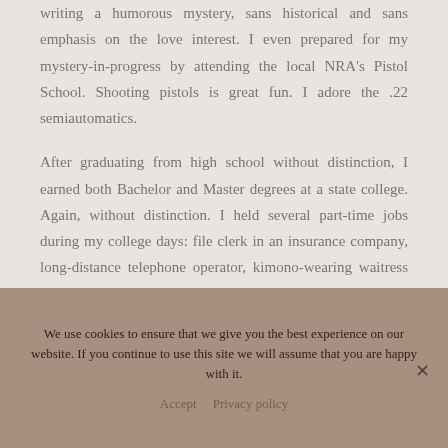writing a humorous mystery, sans historical and sans emphasis on the love interest. I even prepared for my mystery-in-progress by attending the local NRA's Pistol School. Shooting pistols is great fun. I adore the .22 semiautomatics.
After graduating from high school without distinction, I earned both Bachelor and Master degrees at a state college. Again, without distinction. I held several part-time jobs during my college days: file clerk in an insurance company, long-distance telephone operator, kimono-wearing waitress in a Japanese restaurant.
We use cookies to ensure that we give you the best experience on our website. If you continue to use this site we will assume that you are happy with it.